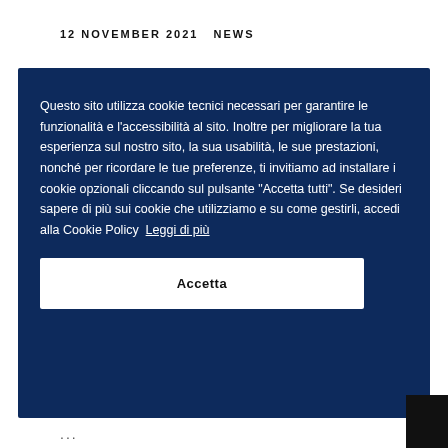12 NOVEMBER 2021   NEWS
Questo sito utilizza cookie tecnici necessari per garantire le funzionalità e l'accessibilità al sito. Inoltre per migliorare la tua esperienza sul nostro sito, la sua usabilità, le sue prestazioni, nonché per ricordare le tue preferenze, ti invitiamo ad installare i cookie opzionali cliccando sul pulsante "Accetta tutti". Se desideri sapere di più sui cookie che utilizziamo e su come gestirli, accedi alla Cookie Policy  Leggi di più
Accetta
...